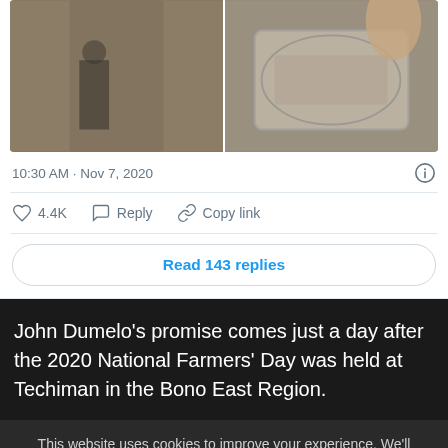[Figure (photo): Two photos side by side in a tweet: left shows a person standing in front of stacked items (possibly crops), right shows items packed in a glass/clear container.]
10:30 AM · Nov 7, 2020
4.4K   Reply   Copy link
Read 143 replies
John Dumelo's promise comes just a day after the 2020 National Farmers' Day was held at Techiman in the Bono East Region.
This website uses cookies to improve your experience. We'll assume you're ok with this, but you can opt-out if you wish.
Cookie settings   ACCEPT